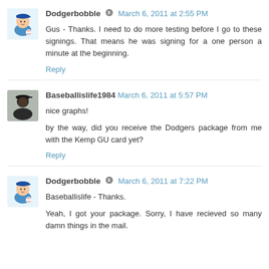Dodgerbobble — March 6, 2011 at 2:55 PM
Gus - Thanks. I need to do more testing before I go to these signings. That means he was signing for a one person a minute at the beginning.
Reply
Baseballislife1984 — March 6, 2011 at 5:57 PM
nice graphs!
by the way, did you receive the Dodgers package from me with the Kemp GU card yet?
Reply
Dodgerbobble — March 6, 2011 at 7:22 PM
Baseballislife - Thanks.
Yeah, I got your package. Sorry, I have recieved so many damn things in the mail.